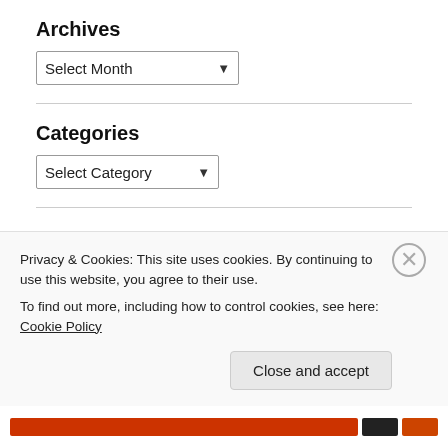Archives
[Figure (other): Dropdown selector labeled 'Select Month' with a downward arrow]
Categories
[Figure (other): Dropdown selector labeled 'Select Category' with a downward arrow]
abortion academia anxiety Barack Obama Bean belief bioethics blogging capitalism cats Chelsea Christianity contraception death
Privacy & Cookies: This site uses cookies. By continuing to use this website, you agree to their use. To find out more, including how to control cookies, see here: Cookie Policy
Close and accept